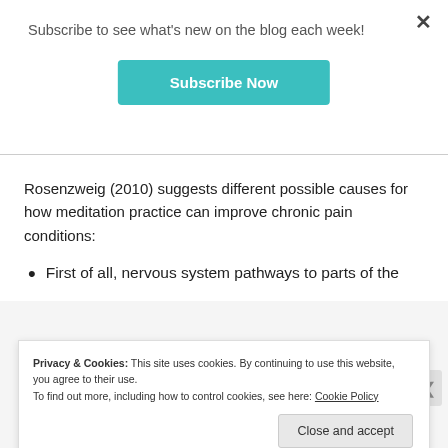Subscribe to see what's new on the blog each week!
[Figure (other): Teal 'Subscribe Now' button]
Rosenzweig (2010) suggests different possible causes for how meditation practice can improve chronic pain conditions:
First of all, nervous system pathways to parts of the
Privacy & Cookies: This site uses cookies. By continuing to use this website, you agree to their use.
To find out more, including how to control cookies, see here: Cookie Policy
Close and accept